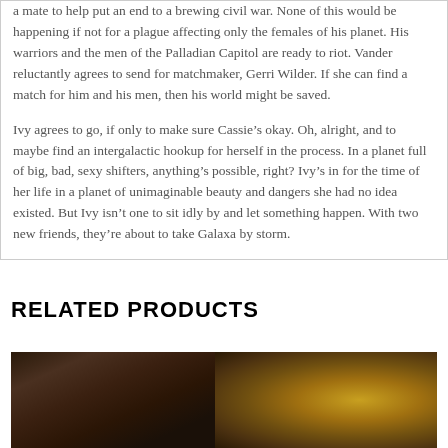a mate to help put an end to a brewing civil war. None of this would be happening if not for a plague affecting only the females of his planet. His warriors and the men of the Palladian Capitol are ready to riot. Vander reluctantly agrees to send for matchmaker, Gerri Wilder. If she can find a match for him and his men, then his world might be saved.
Ivy agrees to go, if only to make sure Cassie's okay. Oh, alright, and to maybe find an intergalactic hookup for herself in the process. In a planet full of big, bad, sexy shifters, anything's possible, right? Ivy's in for the time of her life in a planet of unimaginable beauty and dangers she had no idea existed. But Ivy isn't one to sit idly by and let something happen. With two new friends, they're about to take Galaxa by storm.
RELATED PRODUCTS
[Figure (photo): A close-up image showing a man with a beard on the left half and an animal's eye (likely a big cat) on the right half, with warm brown and golden tones throughout.]